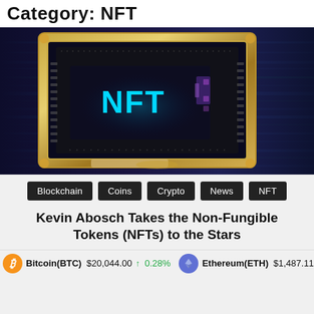Category: NFT
[Figure (illustration): Digital artwork: an ornate gold picture frame containing a dark circuit board chip with glowing cyan 'NFT' text, set against a dark blue background with horizontal light streaks.]
Blockchain
Coins
Crypto
News
NFT
Kevin Abosch Takes the Non-Fungible Tokens (NFTs) to the Stars
Bitcoin(BTC) $20,044.00 ↑ 0.28%   Ethereum(ETH) $1,487.11